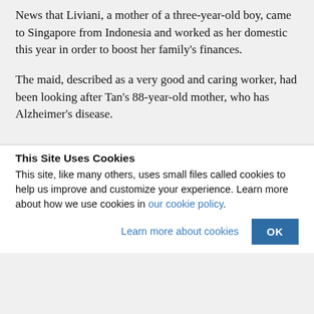News that Liviani, a mother of a three-year-old boy, came to Singapore from Indonesia and worked as her domestic this year in order to boost her family’s finances.
The maid, described as a very good and caring worker, had been looking after Tan’s 88-year-old mother, who has Alzheimer’s disease.
This Site Uses Cookies
This site, like many others, uses small files called cookies to help us improve and customize your experience. Learn more about how we use cookies in our cookie policy.
Learn more about cookies    OK